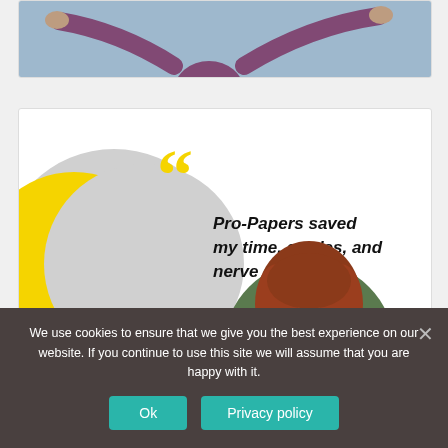[Figure (photo): Cropped top portion of a photo showing a person with arms spread wide against a sky background]
[Figure (infographic): Testimonial card with yellow quotation marks, yellow and grey circle decorations, quote text reading 'Pro-Papers saved my time, grades, and nerve cells!' and a circular profile photo of a woman with red/auburn hair and glasses]
We use cookies to ensure that we give you the best experience on our website. If you continue to use this site we will assume that you are happy with it.
Ok
Privacy policy